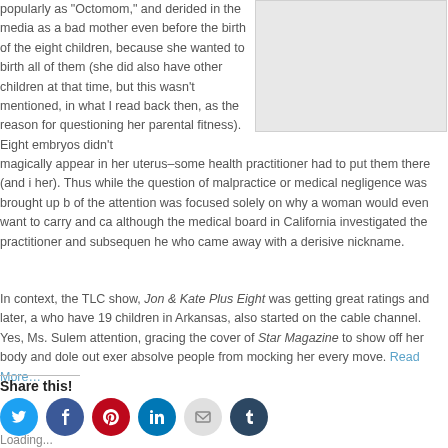popularly as “Octomom,” and derided in the media as a bad mother even before the birth of the eight children, because she wanted to birth all of them (she did also have other children at that time, but this wasn't mentioned, in what I read back then, as the reason for questioning her parental fitness). Eight embryos didn’t magically appear in her uterus–some health practitioner had to put them there (and ir her). Thus while the question of malpractice or medical negligence was brought up b of the attention was focused solely on why a woman would even want to carry and ca although the medical board in California investigated the practitioner and subsequen he who came away with a derisive nickname.
[Figure (photo): Gray placeholder image in upper right]
In context, the TLC show, Jon & Kate Plus Eight was getting great ratings and later, a who have 19 children in Arkansas, also started on the cable channel. Yes, Ms. Sulem attention, gracing the cover of Star Magazine to show off her body and dole out exer absolve people from mocking her every move. Read More…
Share this!
[Figure (other): Social share icons: Twitter, Facebook, Pinterest, LinkedIn, Email, Tumblr]
Loading...